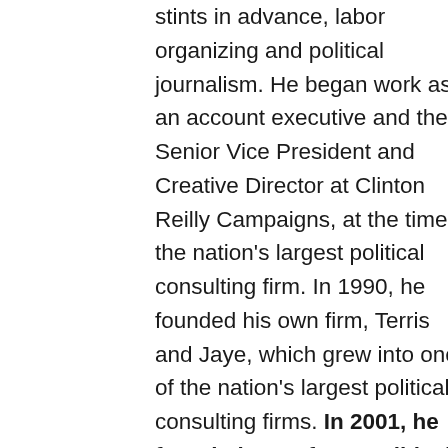stints in advance, labor organizing and political journalism. He began work as an account executive and then Senior Vice President and Creative Director at Clinton Reilly Campaigns, at the time the nation's largest political consulting firm. In 1990, he founded his own firm, Terris and Jaye, which grew into one of the nation's largest political consulting firms. In 2001, he founded Storefront Political Media to provide political client.
Every one of his works is covered with a mantle of sacredness, through which he demonstrates the importance of architecture as a means of expression of